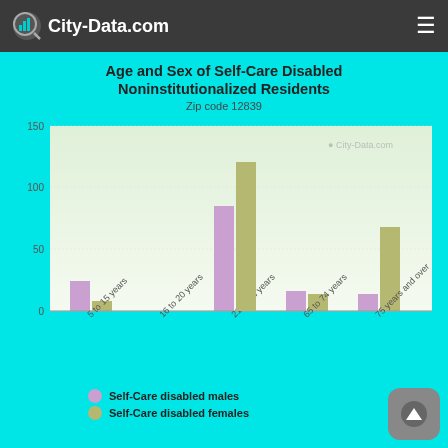City-Data.com
Age and Sex of Self-Care Disabled Noninstitutionalized Residents
Zip code 12839
[Figure (grouped-bar-chart): Age and Sex of Self-Care Disabled Noninstitutionalized Residents]
Self-Care disabled males
Self-Care disabled females